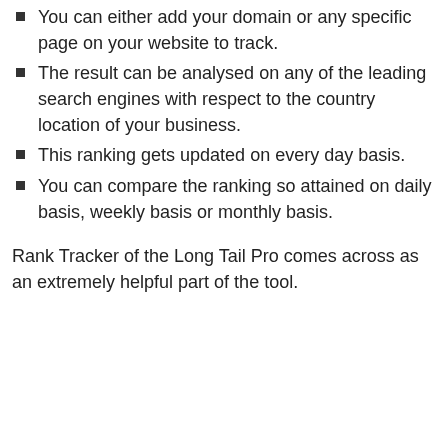You can either add your domain or any specific page on your website to track.
The result can be analysed on any of the leading search engines with respect to the country location of your business.
This ranking gets updated on every day basis.
You can compare the ranking so attained on daily basis, weekly basis or monthly basis.
Rank Tracker of the Long Tail Pro comes across as an extremely helpful part of the tool.